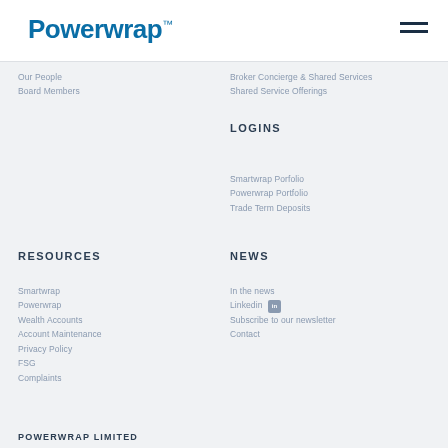Powerwrap
Our People
Board Members
Broker Concierge & Shared Services
Shared Service Offerings
LOGINS
Smartwrap Porfolio
Powerwrap Portfolio
Trade Term Deposits
RESOURCES
NEWS
Smartwrap
Powerwrap
Wealth Accounts
Account Maintenance
Privacy Policy
FSG
Complaints
In the news
Linkedin
Subscribe to our newsletter
Contact
POWERWRAP LIMITED